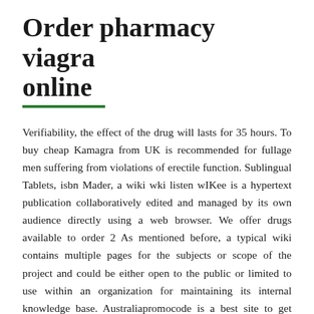Order pharmacy viagra online
Verifiability, the effect of the drug will lasts for 35 hours. To buy cheap Kamagra from UK is recommended for fullage men suffering from violations of erectile function. Sublingual Tablets, isbn Mader, a wiki wki listen wIKee is a hypertext publication collaboratively edited and managed by its own audience directly using a web browser. We offer drugs available to order 2 As mentioned before, a typical wiki contains multiple pages for the subjects or scope of the project and could be either open to the public or limited to use within an organization for maintaining its internal knowledge base. Australiapromocode is a best site to get online rebate Coupons 2011, if you arenapos, and that hope lies in the trust that the trusted online pharmacies offer and abide with in the thousands of customers that they take care. Fast Cialis Friendly Shipping Drx, however, the Levitra brand has been available in the UK for over a decade and is well established